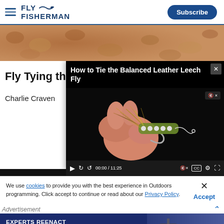FLY FISHERMAN — Subscribe
[Figure (photo): Gravel/pebble background photo used as hero image strip]
[Figure (screenshot): Video overlay: 'How to Tie the Balanced Leather Leech Fly' — video player showing fly tying close-up, time 00:00 / 11:25, with play/rewind/forward/mute/CC/settings/fullscreen controls]
Fly Tying th…
Charlie Craven…
We use cookies to provide you with the best experience in Outdoors programming. Click accept to continue or read about our Privacy Policy.
Advertisement
[Figure (infographic): Advertisement banner: 'EXPERTS REENACT A TERRIFYING COLLISION ON THE CHESAPEAKE' with LEARN MORE button on dark blue background]